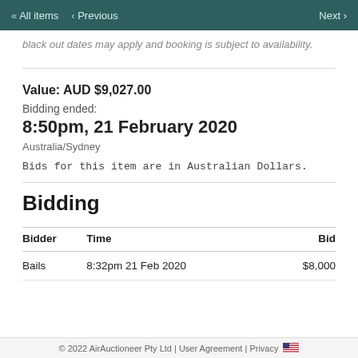« All items   < Previous   Next >
black out dates may apply and booking is subject to availability.
Value: AUD $9,027.00
Bidding ended:
8:50pm, 21 February 2020
Australia/Sydney
Bids for this item are in Australian Dollars.
Bidding
| Bidder | Time | Bid |
| --- | --- | --- |
| Bails | 8:32pm 21 Feb 2020 | $8,000 |
© 2022 AirAuctioneer Pty Ltd | User Agreement | Privacy